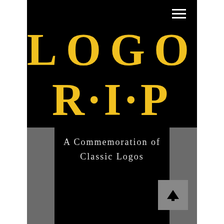[Figure (logo): Hamburger menu icon — three white horizontal lines in top right corner]
LOGO R·I·P
A Commemoration of Classic Logos
[Figure (illustration): Scroll-to-top arrow button — upward pointing arrow in a gray square, bottom right]